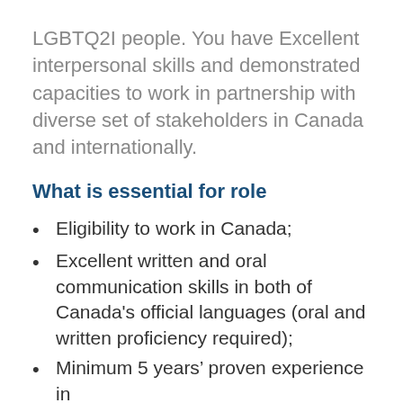LGBTQ2I people. You have Excellent interpersonal skills and demonstrated capacities to work in partnership with diverse set of stakeholders in Canada and internationally.
What is essential for role
Eligibility to work in Canada;
Excellent written and oral communication skills in both of Canada's official languages (oral and written proficiency required);
Minimum 5 years' proven experience in